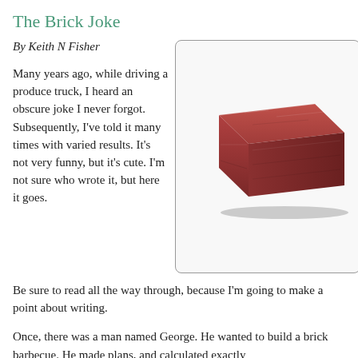The Brick Joke
By Keith N Fisher
Many years ago, while driving a produce truck, I heard an obscure joke I never forgot. Subsequently, I've told it many times with varied results. It's not very funny, but it's cute. I'm not sure who wrote it, but here it goes. Be sure to read all the way through, because I'm going to make a point about writing.
[Figure (photo): A red/brown clay brick photographed on a white background, viewed at an angle showing the top and two sides.]
Once, there was a man named George. He wanted to build a brick barbecue. He made plans, and calculated exactly